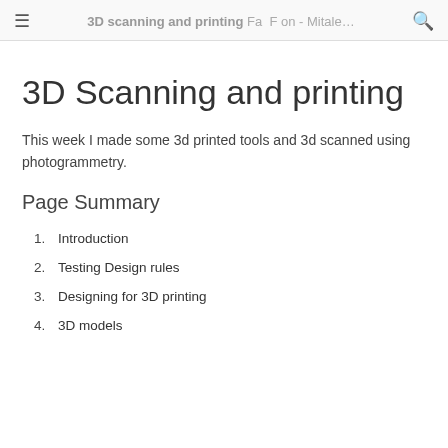3D scanning and printing - Mitale...
3D Scanning and printing
This week I made some 3d printed tools and 3d scanned using photogrammetry.
Page Summary
1. Introduction
2. Testing Design rules
3. Designing for 3D printing
4. 3D models